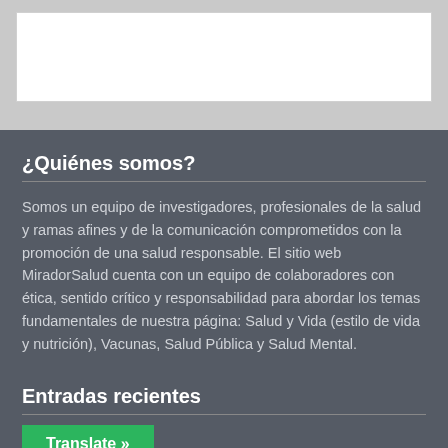[Figure (other): White rectangular banner area at the top of the page on a light grey background]
¿Quiénes somos?
Somos un equipo de investigadores, profesionales de la salud y ramas afines y de la comunicación comprometidos con la promoción de una salud responsable. El sitio web MiradorSalud cuenta con un equipo de colaboradores con ética, sentido crítico y responsabilidad para abordar los temas fundamentales de nuestra página: Salud y Vida (estilo de vida y nutrición), Vacunas, Salud Pública y Salud Mental.
Entradas recientes
Translate »